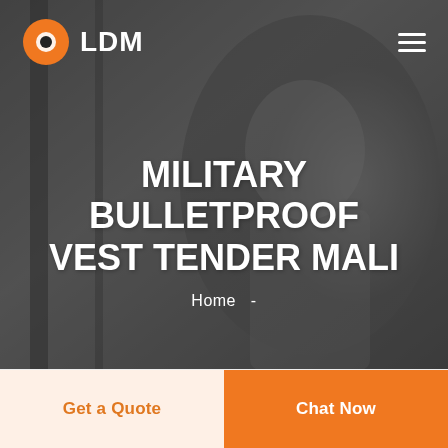[Figure (photo): Dark-toned background hero image showing a smiling man in a white shirt with a semi-transparent dark overlay, used as website banner background.]
LDM
MILITARY BULLETPROOF VEST TENDER MALI
Home  -
Get a Quote
Chat Now